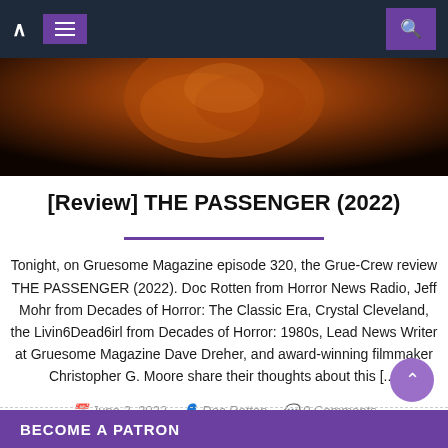Navigation bar with back chevron, hamburger menu, and search icon
[Figure (photo): Hero image showing a dark orange/red textured horror creature face]
[Review] THE PASSENGER (2022)
Tonight, on Gruesome Magazine episode 320, the Grue-Crew review THE PASSENGER (2022). Doc Rotten from Horror News Radio, Jeff Mohr from Decades of Horror: The Classic Era, Crystal Cleveland, the Livin6Dead6irl from Decades of Horror: 1980s, Lead News Writer at Gruesome Magazine Dave Dreher, and award-winning filmmaker Christopher G. Moore share their thoughts about this [...]
June 3, 2022   Doc Rotten   0 Comments